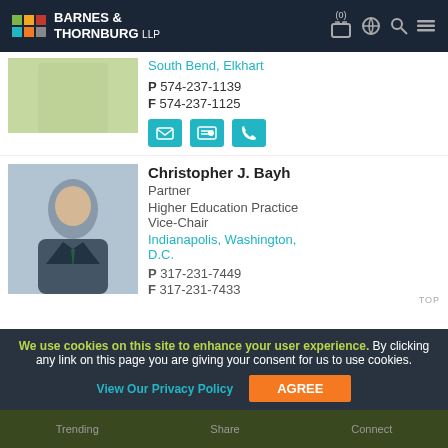[Figure (screenshot): Barnes & Thornburg LLP law firm website screenshot showing attorney profiles and cookie consent banner]
Barnes & Thornburg LLP
South Bend, Elkhart
P 574-237-1139
F 574-237-1125
Christopher J. Bayh
Partner
Higher Education Practice Vice-Chair
Indianapolis, Washington, D.C.
P 317-231-7449
F 317-231-7433
We use cookies on this site to enhance your user experience. By clicking any link on this page you are giving your consent for us to use cookies.
View Our Privacy Policy
AGREE
Trending    Share    Connect